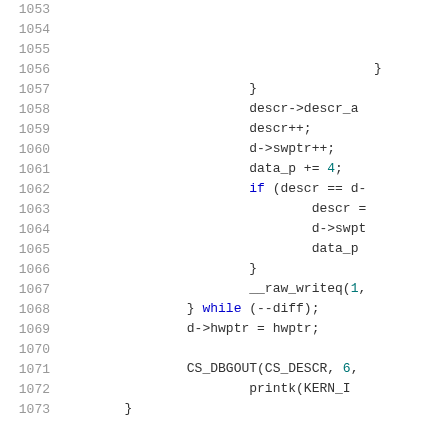Source code listing, lines 1053-1073, showing C kernel code with line numbers and syntax highlighting.